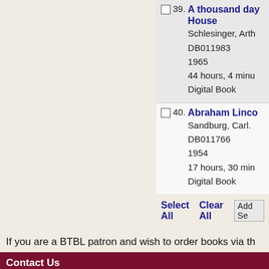39. A thousand day House — Schlesinger, Arth. DB011983, 1965, 44 hours, 4 minu, Digital Book
40. Abraham Linco — Sandburg, Carl. DB011766, 1954, 17 hours, 30 min, Digital Book
Select All  Clear All  Add Se
If you are a BTBL patron and wish to order books via th
Contact Us